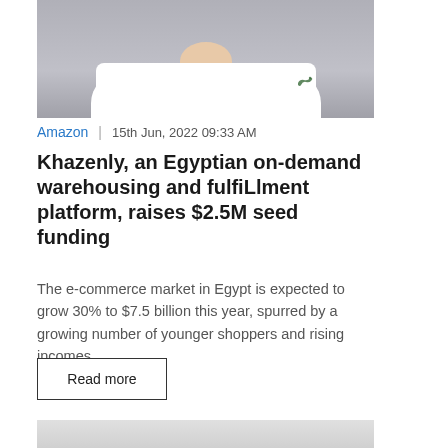[Figure (photo): Partial photo of a person wearing a white Lacoste t-shirt against a grey background, cropped at the shoulders]
Amazon  |  15th Jun, 2022 09:33 AM
Khazenly, an Egyptian on-demand warehousing and fulfiLlment platform, raises $2.5M seed funding
The e-commerce market in Egypt is expected to grow 30% to $7.5 billion this year, spurred by a growing number of younger shoppers and rising incomes....
Read more
[Figure (photo): Bottom portion of a second article image, partially visible at the bottom of the page, light grey background]